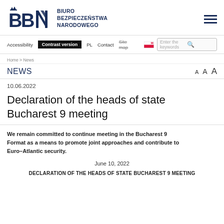[Figure (logo): BBN logo — stylized letters BBN in dark navy blue with crown, alongside text BIURO BEZPIECZEŃSTWA NARODOWEGO]
Accessibility  Contrast version  PL  Contact  Site map  [flag icon]  Enter the keywords [search]
Home > News
NEWS   A  A  A
10.06.2022
Declaration of the heads of state Bucharest 9 meeting
We remain committed to continue meeting in the Bucharest 9 Format as a means to promote joint approaches and contribute to Euro–Atlantic security.
June 10, 2022
DECLARATION OF THE HEADS OF STATE BUCHAREST 9 MEETING